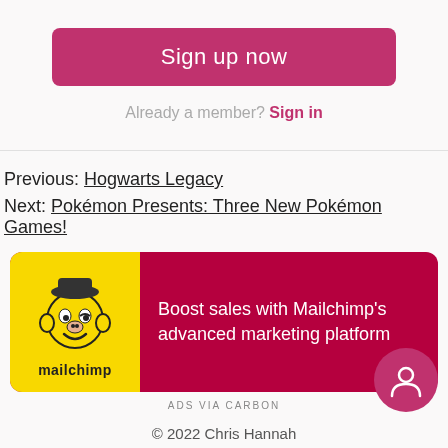Sign up now
Already a member? Sign in
Previous: Hogwarts Legacy
Next: Pokémon Presents: Three New Pokémon Games!
[Figure (logo): Mailchimp advertisement card with yellow logo area showing Mailchimp monkey mascot and red background with text: Boost sales with Mailchimp's advanced marketing platform]
ADS VIA CARBON
© 2022 Chris Hannah